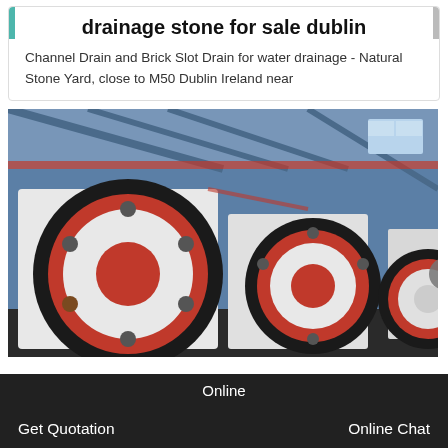drainage stone for sale dublin
Channel Drain and Brick Slot Drain for water drainage - Natural Stone Yard, close to M50 Dublin Ireland near
[Figure (photo): Industrial jaw crushers in a factory/warehouse setting. Large white and red/black heavy machinery with flywheel discs visible.]
Online
Get Quotation
Online Chat